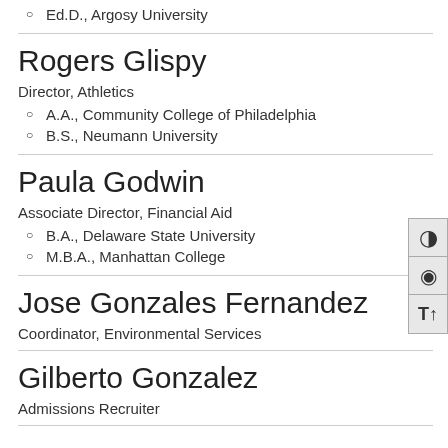Ed.D., Argosy University
Rogers Glispy
Director, Athletics
A.A., Community College of Philadelphia
B.S., Neumann University
Paula Godwin
Associate Director, Financial Aid
B.A., Delaware State University
M.B.A., Manhattan College
Jose Gonzales Fernandez
Coordinator, Environmental Services
Gilberto Gonzalez
Admissions Recruiter